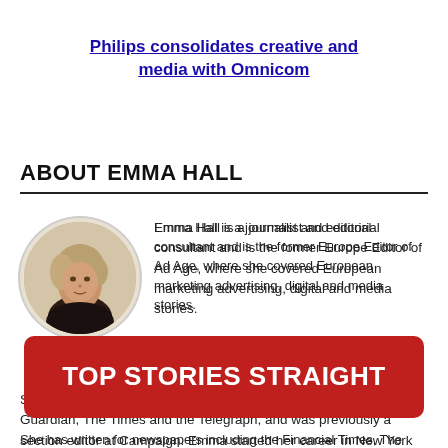Philips consolidates creative and media with Omnicom
ABOUT EMMA HALL
[Figure (photo): Circular portrait photo of Emma Hall, a woman with short blonde hair]
Emma Hall is a journalist and editorial consultant and is the former Europe Editor of Ad Age, where she covered European marketing advertising, digital and media stories. She has written for newspapers including the Financial Times, The Guardian, The Times and the Telegraph, and was previously a section editor at Campaign. Emma started her career in New York as a researcher for a biography of Keith Richards.
TOP STORIES STRAIGHT